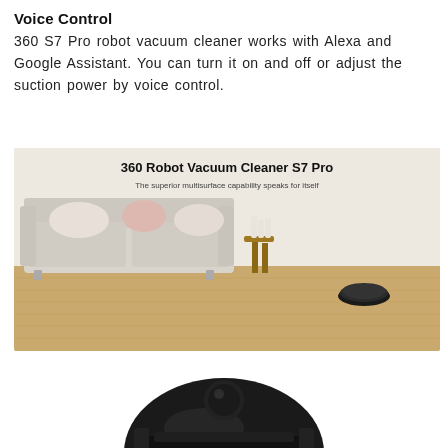Voice Control
360 S7 Pro robot vacuum cleaner works with Alexa and Google Assistant. You can turn it on and off or adjust the suction power by voice control.
[Figure (photo): 360 Robot Vacuum Cleaner S7 Pro in a living room with sofa, side table, and hardwood floor. Text overlay: '360 Robot Vacuum Cleaner S7 Pro' and 'The superior multisurface capability speaks for itself']
[Figure (photo): Close-up photo of the 360 Robot Vacuum Cleaner S7 Pro from above showing the top dome and charging dock]